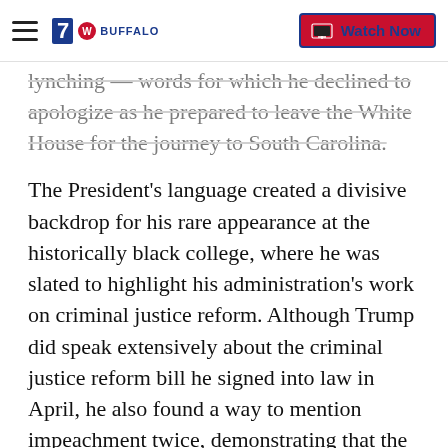7 BUFFALO | Watch Now
lynching — words for which he declined to apologize as he prepared to leave the White House for the journey to South Carolina.
The President's language created a divisive backdrop for his rare appearance at the historically black college, where he was slated to highlight his administration's work on criminal justice reform. Although Trump did speak extensively about the criminal justice reform bill he signed into law in April, he also found a way to mention impeachment twice, demonstrating that the political turmoil engulfing his administration is never far from his mind.
Dozens of protesters gathered outside the venue as Trump's motorcade pulled into the college Friday